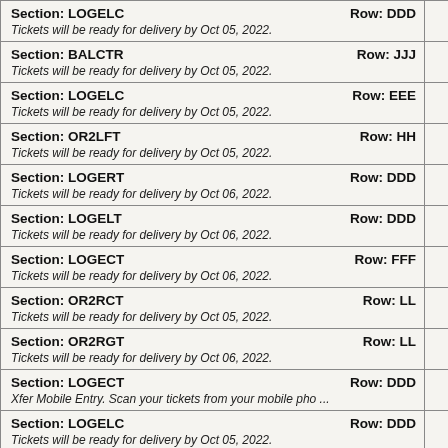| Section / Row | Delivery Info |  |
| --- | --- | --- |
| Section: LOGELC  Row: DDD | Tickets will be ready for delivery by Oct 05, 2022. |  |
| Section: BALCTR  Row: JJJ | Tickets will be ready for delivery by Oct 05, 2022. |  |
| Section: LOGELC  Row: EEE | Tickets will be ready for delivery by Oct 05, 2022. |  |
| Section: OR2LFT  Row: HH | Tickets will be ready for delivery by Oct 05, 2022. |  |
| Section: LOGERT  Row: DDD | Tickets will be ready for delivery by Oct 06, 2022. |  |
| Section: LOGELT  Row: DDD | Tickets will be ready for delivery by Oct 06, 2022. |  |
| Section: LOGECT  Row: FFF | Tickets will be ready for delivery by Oct 06, 2022. |  |
| Section: OR2RCT  Row: LL | Tickets will be ready for delivery by Oct 05, 2022. |  |
| Section: OR2RGT  Row: LL | Tickets will be ready for delivery by Oct 06, 2022. |  |
| Section: LOGECT  Row: DDD | Xfer Mobile Entry. Scan your tickets from your mobile pho ... |  |
| Section: LOGELC  Row: DDD | Tickets will be ready for delivery by Oct 05, 2022. |  |